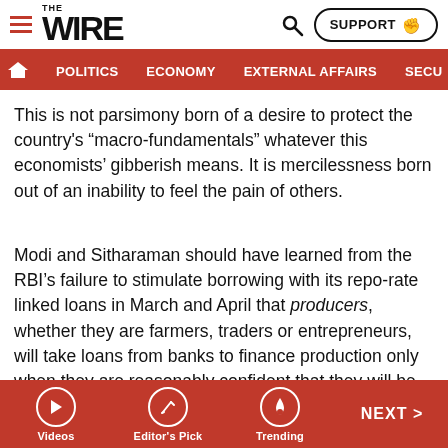THE WIRE | POLITICS | ECONOMY | EXTERNAL AFFAIRS | SECU...
This is not parsimony born of a desire to protect the country’s “macro-fundamentals” whatever this economists’ gibberish means. It is mercilessness born out of an inability to feel the pain of others.
Modi and Sitharaman should have learned from the RBI’s failure to stimulate borrowing with its repo-rate linked loans in March and April that producers, whether they are farmers, traders or entrepreneurs, will take loans from banks to finance production only when they are reasonably confident that they will be able to  sell their product.  That confidence is precisely what Modi’s lockdown has destroyed and his grand revival plan will fail to restore.
Videos | Editor’s Pick | Trending | NEXT >